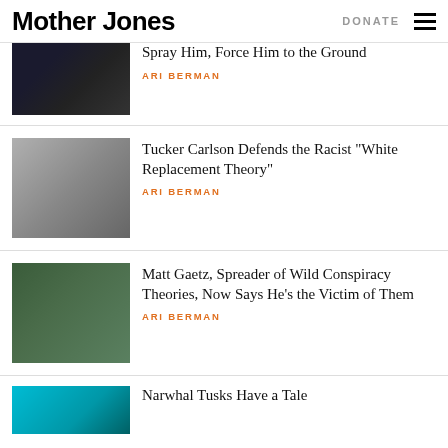Mother Jones | DONATE
Spray Him, Force Him to the Ground
ARI BERMAN
Tucker Carlson Defends the Racist “White Replacement Theory”
ARI BERMAN
Matt Gaetz, Spreader of Wild Conspiracy Theories, Now Says He’s the Victim of Them
ARI BERMAN
Narwhal Tusks Have a Tale